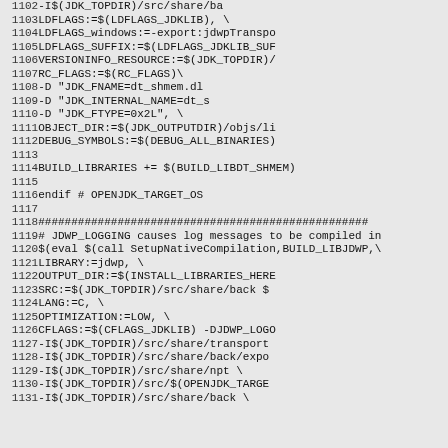Source code / Makefile lines 1102-1131
1102    -I$(JDK_TOPDIR)/src/share/ba
1103                LDFLAGS:=$(LDFLAGS_JDKLIB),\
1104                LDFLAGS_windows:=-export:jdwpTranspo
1105                LDFLAGS_SUFFIX:=$(LDFLAGS_JDKLIB_SUF
1106                VERSIONINFO_RESOURCE:=$(JDK_TOPDIR)/
1107                RC_FLAGS:=$(RC_FLAGS)\
1108                        -D "JDK_FNAME=dt_shmem.dl
1109                        -D "JDK_INTERNAL_NAME=dt_s
1110                        -D "JDK_FTYPE=0x2L", \
1111                OBJECT_DIR:=$(JDK_OUTPUTDIR)/objs/li
1112                DEBUG_SYMBOLS:=$(DEBUG_ALL_BINARIES)
1113
1114    BUILD_LIBRARIES += $(BUILD_LIBDT_SHMEM)
1115
1116 endif # OPENJDK_TARGET_OS
1117
1118 ##################################################
1119 # JDWP_LOGGING causes log messages to be compiled in
1120 $(eval $(call SetupNativeCompilation,BUILD_LIBJDWP,\
1121                LIBRARY:=jdwp, \
1122                OUTPUT_DIR:=$(INSTALL_LIBRARIES_HERE
1123                SRC:=$(JDK_TOPDIR)/src/share/back $
1124                LANG:=C, \
1125                OPTIMIZATION:=LOW, \
1126                CFLAGS:=$(CFLAGS_JDKLIB) -DJDWP_LOGO
1127                    -I$(JDK_TOPDIR)/src/share/transport
1128                    -I$(JDK_TOPDIR)/src/share/back/expo
1129                    -I$(JDK_TOPDIR)/src/share/npt \
1130                    -I$(JDK_TOPDIR)/src/$(OPENJDK_TARGE
1131                    -I$(JDK_TOPDIR)/src/share/back \